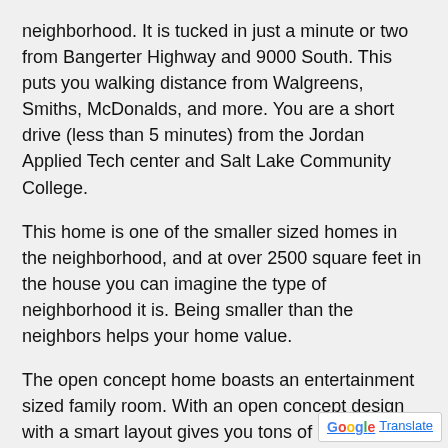neighborhood. It is tucked in just a minute or two from Bangerter Highway and 9000 South. This puts you walking distance from Walgreens, Smiths, McDonalds, and more. You are a short drive (less than 5 minutes) from the Jordan Applied Tech center and Salt Lake Community College.
This home is one of the smaller sized homes in the neighborhood, and at over 2500 square feet in the house you can imagine the type of neighborhood it is. Being smaller than the neighbors helps your home value.
The open concept home boasts an entertainment sized family room. With an open concept design with a smart layout gives you tons of room from entering to moving around. The kitchen is a dream. The intelligent design gives you plenty of storage and more than enough counter space with the the central island and a pantry. The master bedroom has a walk in closet and master bat